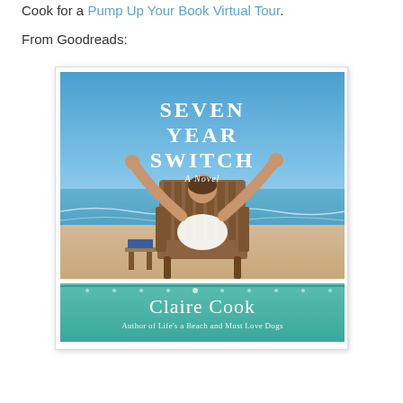Cook for a Pump Up Your Book Virtual Tour.
From Goodreads:
[Figure (illustration): Book cover of 'Seven Year Switch' by Claire Cook. Shows a person sitting in a wooden Adirondack chair on a beach with arms raised, blue sky and ocean in background. Bottom teal band reads 'Claire Cook' and 'Author of Life's a Beach and Must Love Dogs.' Subtitle says 'A Novel.']